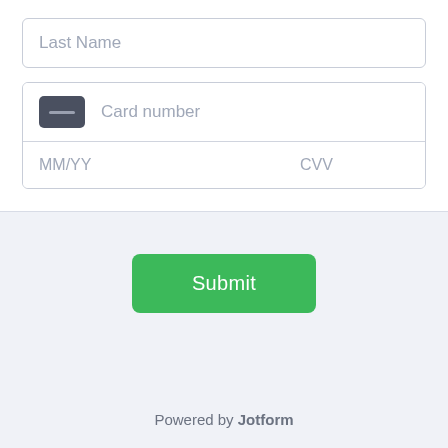Last Name
Card number
MM/YY
CVV
Submit
Powered by Jotform